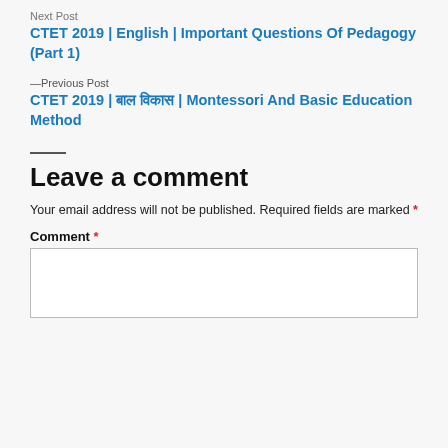Next Post
CTET 2019 | English | Important Questions Of Pedagogy (Part 1)
—Previous Post
CTET 2019 | बाल विकास | Montessori And Basic Education Method
Leave a comment
Your email address will not be published. Required fields are marked *
Comment *